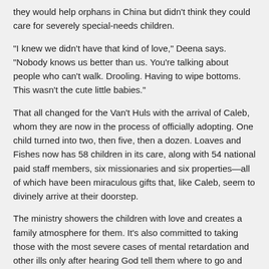they would help orphans in China but didn't think they could care for severely special-needs children.
"I knew we didn't have that kind of love," Deena says. "Nobody knows us better than us. You're talking about people who can't walk. Drooling. Having to wipe bottoms. This wasn't the cute little babies."
That all changed for the Van't Huls with the arrival of Caleb, whom they are now in the process of officially adopting. One child turned into two, then five, then a dozen. Loaves and Fishes now has 58 children in its care, along with 54 national paid staff members, six missionaries and six properties—all of which have been miraculous gifts that, like Caleb, seem to divinely arrive at their doorstep.
The ministry showers the children with love and creates a family atmosphere for them. It's also committed to taking those with the most severe cases of mental retardation and other ills only after hearing God tell them where to go and who to get. In fact, when Mike and Deena go into an orphanage they specifically ask staff which child is close to dying and which one is the most difficult to care for. They immediately know that those are the children they should take with them. And in doing so, remarkably, Loaves and Fishes has earned such favor from the Chinese government that the ministry is now pursued for special projects and has been able to start a school for special-